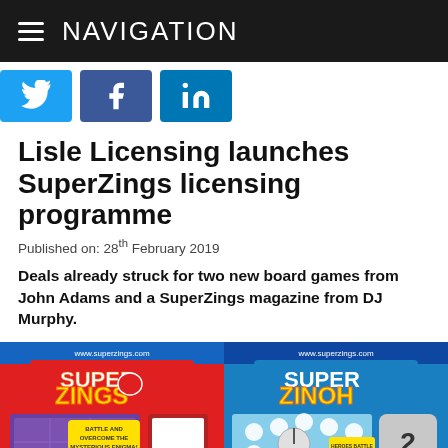NAVIGATION
[Figure (illustration): Social media share buttons: Twitter (blue bird icon), Facebook (blue f icon), LinkedIn (blue in icon)]
Lisle Licensing launches SuperZings licensing programme
Published on: 28th February 2019
Deals already struck for two new board games from John Adams and a SuperZings magazine from DJ Murphy.
[Figure (photo): Two SuperZings board game boxes: 'Battle Game' (red box, left) and 'Race to Rescue' (blue box, right), both featuring colorful cartoon SuperZings characters and game components.]